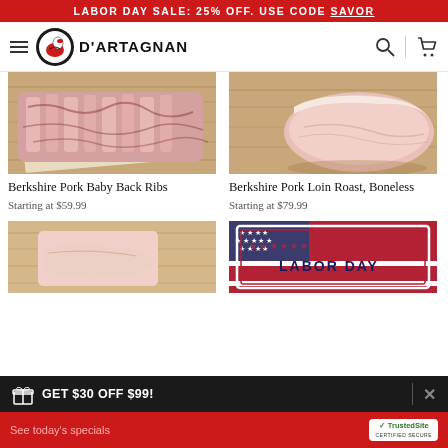LABOR DAY SALE: 25% OFF. USE CODE SAVOR
[Figure (logo): D'Artagnan brand logo with duck mascot in circular badge and brand name text, navigation bar with hamburger menu, search icon, and cart icon]
[Figure (photo): Berkshire Pork Baby Back Ribs on butcher paper and wooden cutting board]
Berkshire Pork Baby Back Ribs
Starting at $59.99
[Figure (photo): Berkshire Pork Loin Roast Boneless on wooden cutting board]
Berkshire Pork Loin Roast, Boneless
Starting at $79.99
[Figure (photo): Partial view of pork product on wooden cutting board]
[Figure (photo): Labor Day themed gift box with American flag pattern and red stars border]
GET $30 OFF $99!
See today's specials | TrustedSite CERTIFIED SECURE